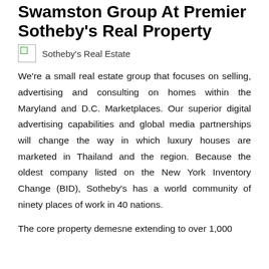Swamston Group At Premier Sotheby's Real Property
[Figure (logo): Broken image placeholder icon followed by text 'Sotheby's Real Estate']
We're a small real estate group that focuses on selling, advertising and consulting on homes within the Maryland and D.C. Marketplaces. Our superior digital advertising capabilities and global media partnerships will change the way in which luxury houses are marketed in Thailand and the region. Because the oldest company listed on the New York Inventory Change (BID), Sotheby's has a world community of ninety places of work in 40 nations.
The core property demesne extending to over 1,000 ...